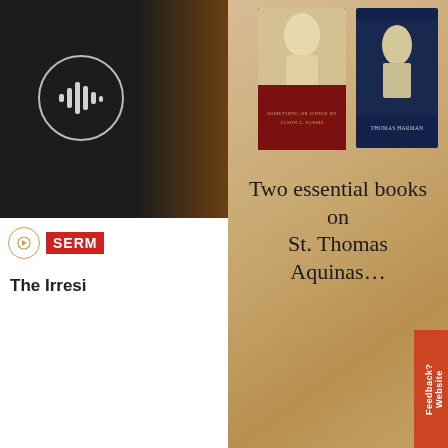[Figure (screenshot): Background page with dark audio player area (top left), SermonAudio logo strip, partial title text 'The Irresi...', date bar 'JULY 10, 2...' with accessibility button, and bottom landscape artwork]
[Figure (illustration): Book advertisement showing two books on St. Thomas Aquinas against a tan/beige background with book covers visible - one dark red/maroon and one dark navy blue]
Two essential books on St. Thomas Aquinas…
Buy One Get the Other Free!
GET THESE BOOKS
CLOSE
Website Feedback?
SERM
The Irresi
JULY 10, 2